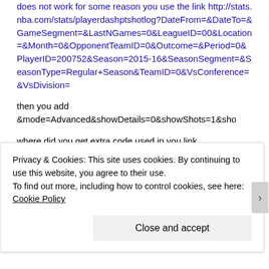does not work for some reason you use the link http://stats.nba.com/stats/playerdashptshotlog?DateFrom=&DateTo=&GameSegment=&LastNGames=0&LeagueID=00&Location=&Month=0&OpponentTeamID=0&Outcome=&Period=0&PlayerID=200752&Season=2015-16&SeasonSegment=&SeasonType=Regular+Season&TeamID=0&VsConference=&VsDivision=
then you add &mode=Advanced&showDetails=0&showShots=1&sho
where did you get extra code used in you link
when i added your extra link the code works great this link uses the id for rudy gay the player i am trying to profile.
this could be of great help for me learning to di...
Privacy & Cookies: This site uses cookies. By continuing to use this website, you agree to their use.
To find out more, including how to control cookies, see here: Cookie Policy